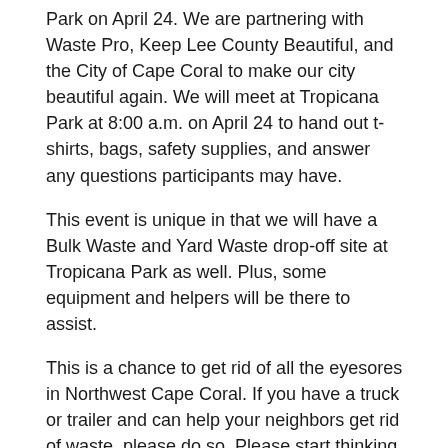Park on April 24. We are partnering with Waste Pro, Keep Lee County Beautiful, and the City of Cape Coral to make our city beautiful again. We will meet at Tropicana Park at 8:00 a.m. on April 24 to hand out t-shirts, bags, safety supplies, and answer any questions participants may have.
This event is unique in that we will have a Bulk Waste and Yard Waste drop-off site at Tropicana Park as well. Plus, some equipment and helpers will be there to assist.
This is a chance to get rid of all the eyesores in Northwest Cape Coral. If you have a truck or trailer and can help your neighbors get rid of waste, please do so. Please start thinking of how we can come together as a community and clean this mess up. I'm embarrassed to show guests my city.
Yes, we have a waste collection service that should be taking care of this problem, but let's partner with them and get this done! We won't clean up all of Northwest Cape Coral this first event, but big things get done in little steps.